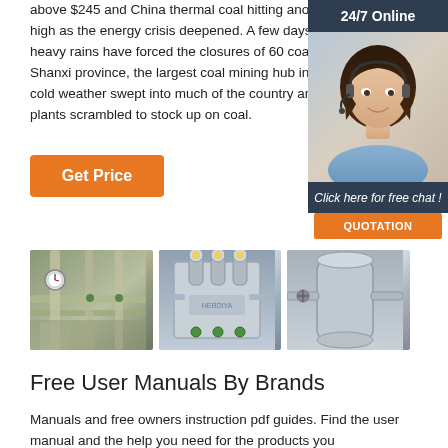above $245 and China thermal coal hitting another record high as the energy crisis deepened. A few days after heavy rains have forced the closures of 60 coal mines in Shanxi province, the largest coal mining hub in China, cold weather swept into much of the country and power plants scrambled to stock up on coal.
[Figure (other): 24/7 Online chat widget with a woman wearing a headset, dark teal background, orange QUOTATION button]
Get Price
[Figure (photo): Industrial facility with pipes, gauges and equipment]
[Figure (photo): Industrial equipment with yellow fittings on a grey metallic box]
[Figure (photo): Industrial cylindrical equipment, grey metal]
Free User Manuals By Brands
Manuals and free owners instruction pdf guides. Find the user manual and the help you need for the products you